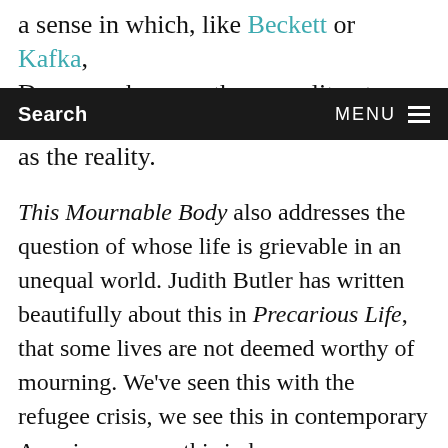a sense in which, like Beckett or Kafka, Dangarembga can throw reality at you without
Search    MENU
as the reality.
This Mournable Body also addresses the question of whose life is grievable in an unequal world. Judith Butler has written beautifully about this in Precarious Life, that some lives are not deemed worthy of mourning. We've seen this with the refugee crisis, we see this in contemporary America, we see this in how many disposable lives there are today. And in answering that back by saying, look 'this is a mournable body' Dangarembga is refusing to play the sentimental pathos game. She's not going to play; she's not going to be extra virtuous. She's not going to give you a redemptive story. It's this body in this world, in this unrelenting reality that is mournable.